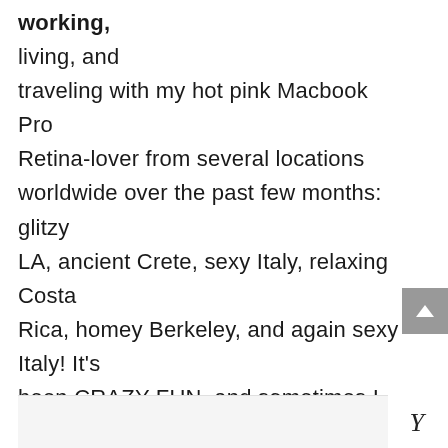working, living, and traveling with my hot pink Macbook Pro Retina-lover from several locations worldwide over the past few months: glitzy LA, ancient Crete, sexy Italy, relaxing Costa Rica, homey Berkeley, and again sexy Italy! It's been CRAZY FUN, and sometimes I feel like I AM CRAZY too, like a high-end bag lady with so many ideas, passions, and fashions to bring with me to create new styles. Somehow, I am making it work, and it's magical.
[Figure (other): Partial view of an image or logo at the bottom of the page with a large italic letter Y visible on the right side]